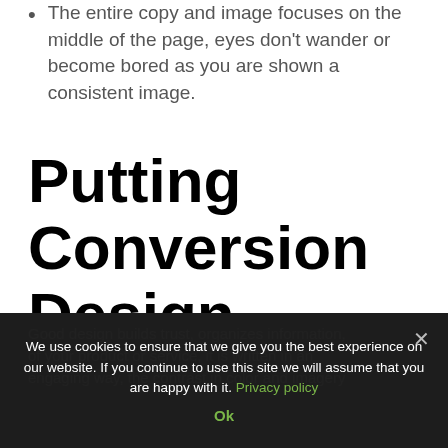The entire copy and image focuses on the middle of the page, eyes don't wander or become bored as you are shown a consistent image.
Putting Conversion Design To Good Use
Good design builds trust, organizes information, of your product or service, it is written in an engaging way, the contrast in color and imagery
We use cookies to ensure that we give you the best experience on our website. If you continue to use this site we will assume that you are happy with it. Privacy policy Ok